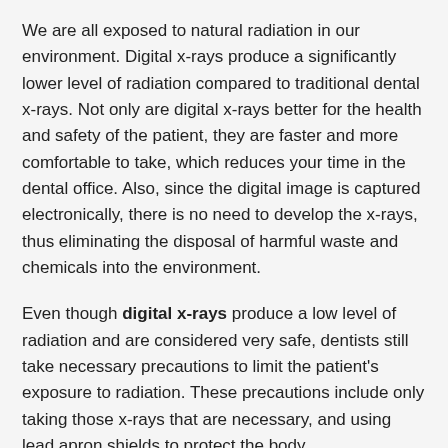We are all exposed to natural radiation in our environment. Digital x-rays produce a significantly lower level of radiation compared to traditional dental x-rays. Not only are digital x-rays better for the health and safety of the patient, they are faster and more comfortable to take, which reduces your time in the dental office. Also, since the digital image is captured electronically, there is no need to develop the x-rays, thus eliminating the disposal of harmful waste and chemicals into the environment.
Even though digital x-rays produce a low level of radiation and are considered very safe, dentists still take necessary precautions to limit the patient's exposure to radiation. These precautions include only taking those x-rays that are necessary, and using lead apron shields to protect the body.
How often should dental x-rays be taken?